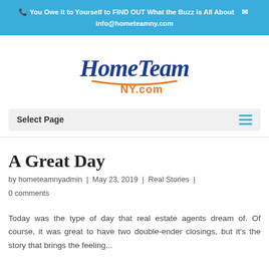You Owe it to Yourself to FIND OUT What the Buzz is All About    info@hometeamny.com
[Figure (logo): HomeTeam NY.com logo in blue script font with orange underline and NY.com text]
Select Page
A Great Day
by hometeamnyadmin | May 23, 2019 | Real Stories | 0 comments
Today was the type of day that real estate agents dream of. Of course, it was great to have two double-ender closings, but it's the story that brings the feeling...